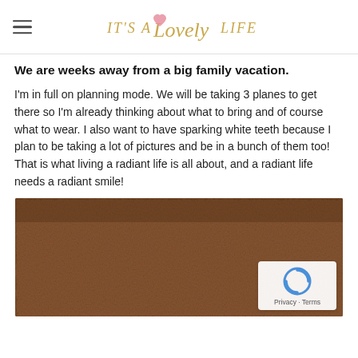It's A Lovely Life (logo)
We are weeks away from a big family vacation.
I'm in full on planning mode. We will be taking 3 planes to get there so I'm already thinking about what to bring and of course what to wear. I also want to have sparking white teeth because I plan to be taking a lot of pictures and be in a bunch of them too! That is what living a radiant life is all about, and a radiant life needs a radiant smile!
[Figure (photo): Close-up photo of a brown textured towel surface. A reCAPTCHA badge with privacy and terms links appears in the bottom right corner of the image.]